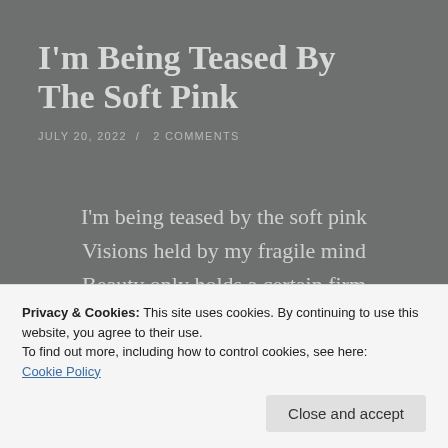I'm Being Teased By The Soft Pink
JULY 20, 2022  /  2 COMMENTS
I'm being teased by the soft pink
Visions held by my fragile mind
Beauty only holds a certain firm
Your words delve until I find
I am strong enough to last
Privacy & Cookies: This site uses cookies. By continuing to use this website, you agree to their use.
To find out more, including how to control cookies, see here: Cookie Policy